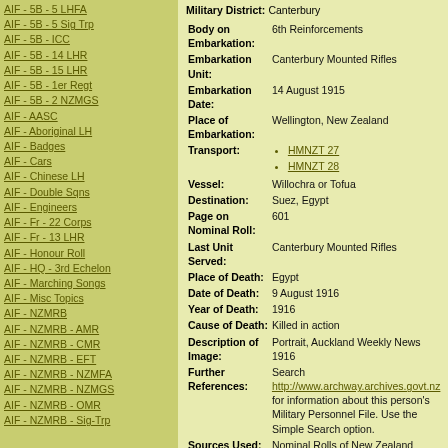AIF - 5B - 5 LHFA
AIF - 5B - 5 Sig Trp
AIF - 5B - ICC
AIF - 5B - 14 LHR
AIF - 5B - 15 LHR
AIF - 5B - 1er Regt
AIF - 5B - 2 NZMGS
AIF - AASC
AIF - Aboriginal LH
AIF - Badges
AIF - Cars
AIF - Chinese LH
AIF - Double Sqns
AIF - Engineers
AIF - Fr - 22 Corps
AIF - Fr - 13 LHR
AIF - Honour Roll
AIF - HQ - 3rd Echelon
AIF - Marching Songs
AIF - Misc Topics
AIF - NZMRB
AIF - NZMRB - AMR
AIF - NZMRB - CMR
AIF - NZMRB - EFT
AIF - NZMRB - NZMFA
AIF - NZMRB - NZMGS
AIF - NZMRB - OMR
AIF - NZMRB - Sig-Trp
Military District: Canterbury
| Field | Value |
| --- | --- |
| Body on Embarkation: | 6th Reinforcements |
| Embarkation Unit: | Canterbury Mounted Rifles |
| Embarkation Date: | 14 August 1915 |
| Place of Embarkation: | Wellington, New Zealand |
| Transport: | HMNZT 27
HMNZT 28 |
| Vessel: | Willochra or Tofua |
| Destination: | Suez, Egypt |
| Page on Nominal Roll: | 601 |
| Last Unit Served: | Canterbury Mounted Rifles |
| Place of Death: | Egypt |
| Date of Death: | 9 August 1916 |
| Year of Death: | 1916 |
| Cause of Death: | Killed in action |
| Description of Image: | Portrait, Auckland Weekly News 1916 |
| Further References: | Search http://www.archway.archives.govt.nz for information about this person's Military Personnel File. Use the Simple Search option. |
| Sources Used: | Nominal Rolls of New Zealand Expeditionary Force Volume I. Wellington: Govt. Printer, 1914-1919 |